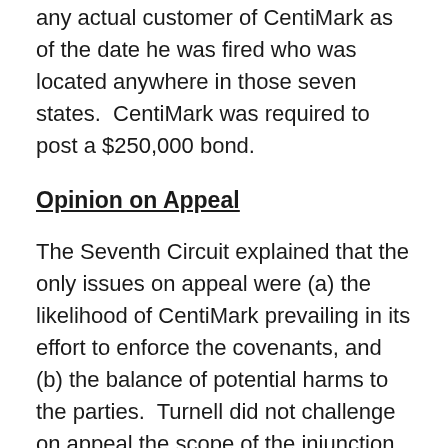any actual customer of CentiMark as of the date he was fired who was located anywhere in those seven states. CentiMark was required to post a $250,000 bond.
Opinion on Appeal
The Seventh Circuit explained that the only issues on appeal were (a) the likelihood of CentiMark prevailing in its effort to enforce the covenants, and (b) the balance of potential harms to the parties. Turnell did not challenge on appeal the scope of the injunction, just the fact that it was issued at all. So, some of the panel's comments concerning the ambiguity of scope terms used in the covenant might seem to be dicta. However, in a footnote the